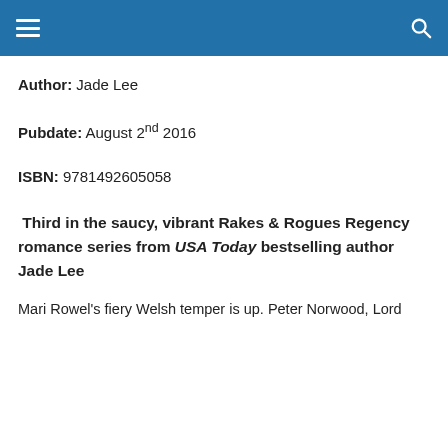Author: Jade Lee
Pubdate: August 2nd 2016
ISBN: 9781492605058
Third in the saucy, vibrant Rakes & Rogues Regency romance series from USA Today bestselling author Jade Lee
Mari Rowel's fiery Welsh temper is up. Peter Norwood, Lord